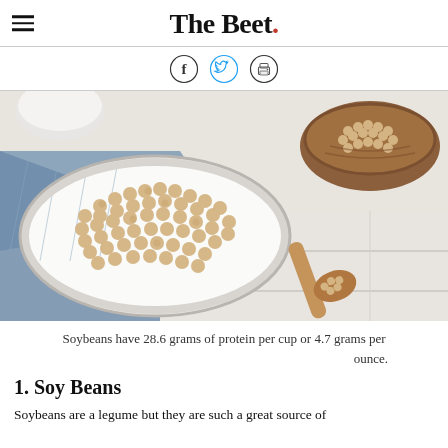The Beet.
[Figure (other): Social share icons: Facebook, Twitter, Print]
[Figure (photo): Soybeans in a white plate, a wooden bowl, and a wooden spoon on a blue cloth and white wood surface]
Soybeans have 28.6 grams of protein per cup or 4.7 grams per ounce.
1. Soy Beans
Soybeans are a legume but they are such a great source of